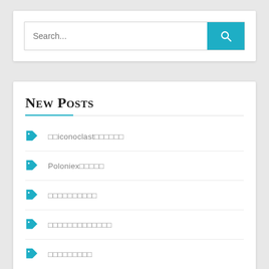[Figure (screenshot): Search bar with text input field showing placeholder 'Search...' and a teal search button with magnifying glass icon]
New Posts
□□iconoclast□□□□□□
Poloniex□□□□□
□□□□□□□□□□
□□□□□□□□□□□□□
□□□□□□□□□